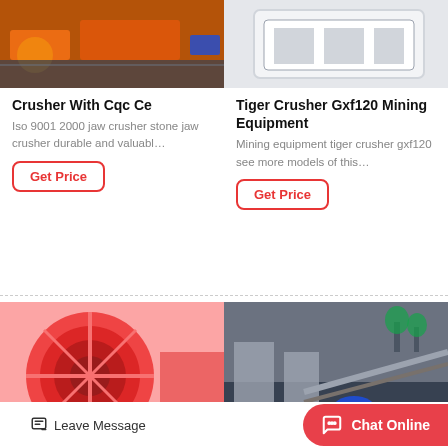[Figure (photo): Photo of industrial jaw crusher equipment with orange conveyor belts and blue motors]
Crusher With Cqc Ce
Iso 9001 2000 jaw crusher stone jaw crusher durable and valuabl…
Get Price
[Figure (photo): Photo of white Tiger Crusher Gxf120 mining equipment box/unit]
Tiger Crusher Gxf120 Mining Equipment
Mining equipment tiger crusher gxf120 see more models of this…
Get Price
[Figure (photo): Photo of large red wheel bucket sand washer machine]
[Figure (photo): Photo of mining conveyor belt and processing equipment at a plant site]
Leave Message
Chat Online